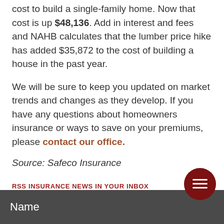cost to build a single-family home. Now that cost is up $48,136. Add in interest and fees and NAHB calculates that the lumber price hike has added $35,872 to the cost of building a house in the past year.
We will be sure to keep you updated on market trends and changes as they develop. If you have any questions about homeowners insurance or ways to save on your premiums, please contact our office.
Source: Safeco Insurance
RSS INSURANCE NEWS IN YOUR INBOX
Name